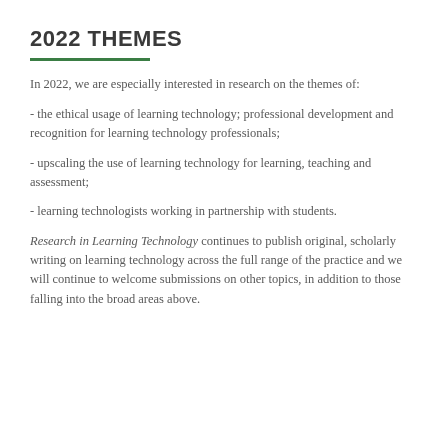2022 THEMES
In 2022, we are especially interested in research on the themes of:
- the ethical usage of learning technology; professional development and recognition for learning technology professionals;
- upscaling the use of learning technology for learning, teaching and assessment;
- learning technologists working in partnership with students.
Research in Learning Technology continues to publish original, scholarly writing on learning technology across the full range of the practice and we will continue to welcome submissions on other topics, in addition to those falling into the broad areas above.